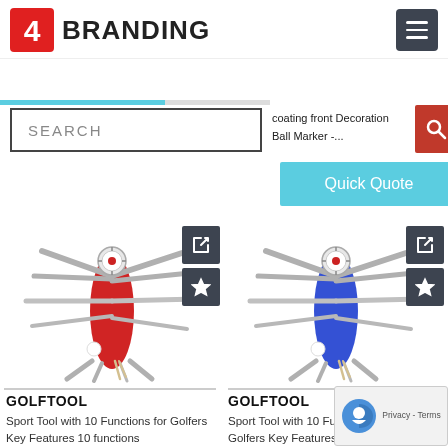4 BRANDING
SEARCH
coating front Decoration Ball Marker -...
Quick Quote
[Figure (photo): Red Victorinox Golftool multi-tool swiss army knife with 10 functions for golfers, shown open with all tools extended]
[Figure (photo): Blue Victorinox Golftool multi-tool swiss army knife with 10 functions for golfers, shown open with all tools extended]
GOLFTOOL
Sport Tool with 10 Functions for Golfers Key Features 10 functions
GOLFTOOL
Sport Tool with 10 Functions for Golfers Key Features 10 functions